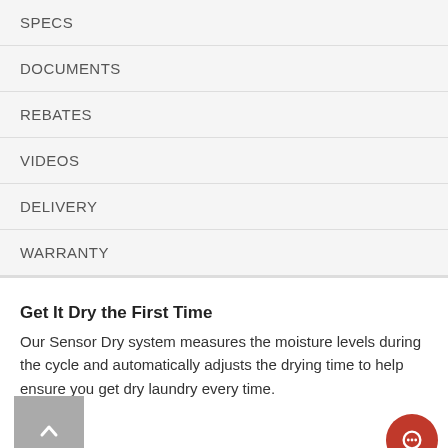SPECS
DOCUMENTS
REBATES
VIDEOS
DELIVERY
WARRANTY
Get It Dry the First Time
Our Sensor Dry system measures the moisture levels during the cycle and automatically adjusts the drying time to help ensure you get dry laundry every time.
Get It All Done in Less Time